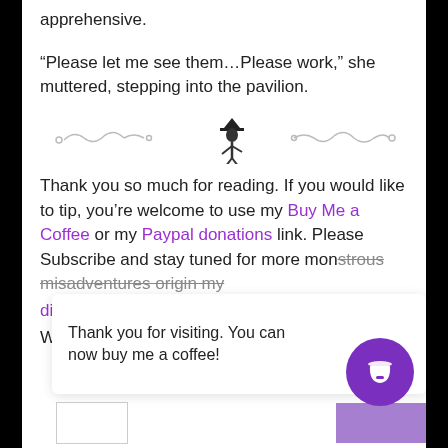apprehensive.
“Please let me see them…Please work,” she muttered, stepping into the pavilion.
[Figure (illustration): Decorative divider with swirl ornaments on left and right, and a small figure illustration in the center (person with hat)]
Thank you so much for reading. If you would like to tip, you’re welcome to use my Buy Me a Coffee or my Paypal donations link. Please Subscribe and stay tuned for more mon[strous misadventures origin my disco...] ...ctly. We l[...]
[Figure (infographic): Popup toast overlay reading: Thank you for visiting. You can now buy me a coffee! with a purple circular coffee cup button icon on the right]